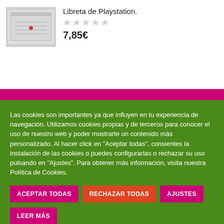[Figure (photo): Product image of a Libreta de Playstation notebook, gray/silver colored]
Libreta de Playstation.
★★★★★ (empty stars rating)
7,85€
Las cookies son importantes ya que influyen en tu experiencia de navegación. Utilizamos cookies propias y de terceros para conocer el uso de nuestro web y poder mostrarte un contenido más personalizado. Al hacer click en "Aceptar todas", consientes la instalación de las cookies o puedes configurarlas o rechazar su uso pulsando en "Ajustes". Para obtener más información, visita nuestra Política de Cookies.
ACEPTAR TODAS
RECHAZAR TODAS
AJUSTES
LEER MÁS